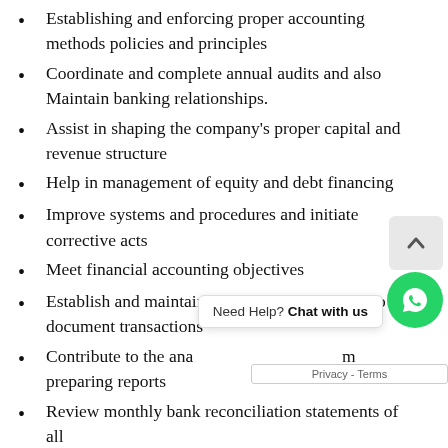Establishing and enforcing proper accounting methods policies and principles
Coordinate and complete annual audits and also Maintain banking relationships.
Assist in shaping the company’s proper capital and revenue structure
Help in management of equity and debt financing
Improve systems and procedures and initiate corrective acts
Meet financial accounting objectives
Establish and maintain fiscal files and records to document transactions
Contribute to the ana[lysis of management by] preparing reports
Review monthly bank reconciliation statements of all